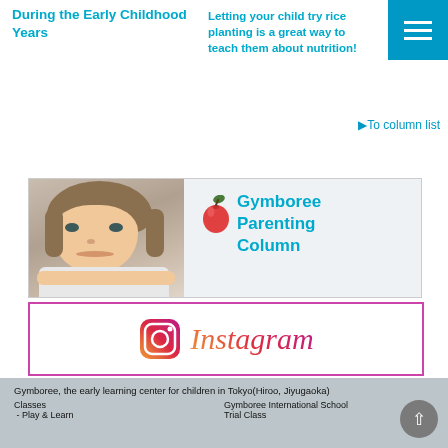During the Early Childhood Years
Letting your child try rice planting is a great way to teach them about nutrition!
▶To column list
[Figure (illustration): Banner with a child photo on the left and 'Gymboree Parenting Column' text with an apple icon on the right]
[Figure (logo): Instagram logo and wordmark]
Gymboree, the early learning center for children in Tokyo(Hiroo, Jiyugaoka)
Classes
 - Play & Learn
Gymboree International School
Trial Class